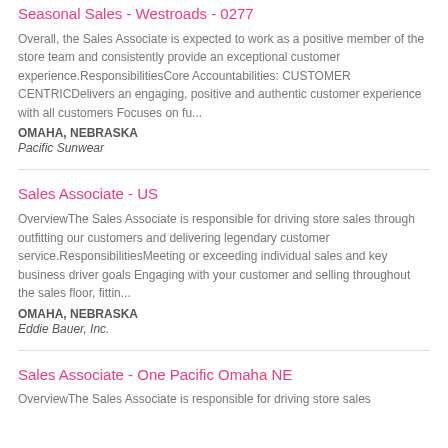Seasonal Sales - Westroads - 0277
Overall, the Sales Associate is expected to work as a positive member of the store team and consistently provide an exceptional customer experience.ResponsibilitiesCore Accountabilities: CUSTOMER CENTRICDelivers an engaging, positive and authentic customer experience with all customers Focuses on fu...
OMAHA, NEBRASKA
Pacific Sunwear
Sales Associate - US
OverviewThe Sales Associate is responsible for driving store sales through outfitting our customers and delivering legendary customer service.ResponsibilitiesMeeting or exceeding individual sales and key business driver goals Engaging with your customer and selling throughout the sales floor, fittin...
OMAHA, NEBRASKA
Eddie Bauer, Inc.
Sales Associate - One Pacific Omaha NE
OverviewThe Sales Associate is responsible for driving store sales